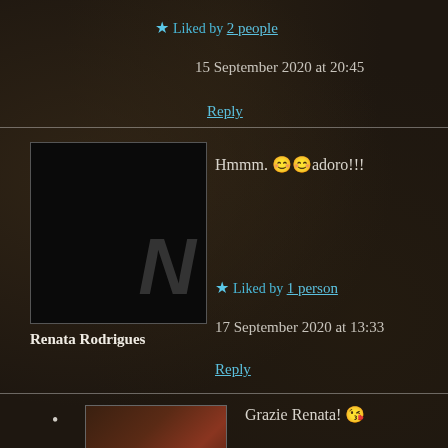★ Liked by 2 people
15 September 2020 at 20:45
Reply
Hmmm. 😊😊adoro!!!
Renata Rodrigues
★ Liked by 1 person
17 September 2020 at 13:33
Reply
Grazie Renata! 😘